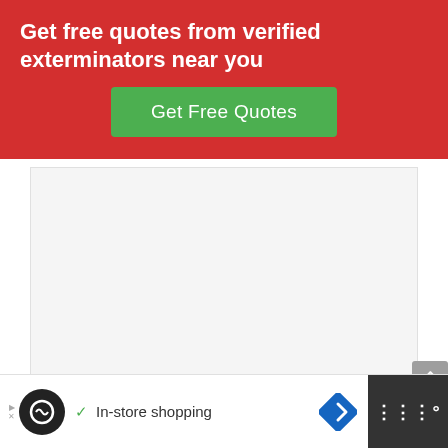Get free quotes from verified exterminators near you
Get Free Quotes
[Figure (other): Empty white/light gray advertisement image area]
However, the nest must be reachable, and
In-store shopping